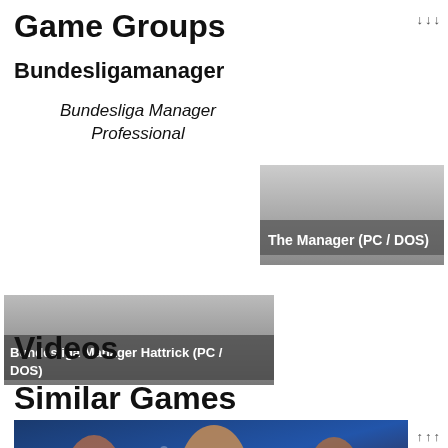Game Groups
Bundesligamanager
Bundesliga Manager Professional
[Figure (screenshot): Game cover image for The Manager (PC / DOS) with gradient gray background and white bold text label]
[Figure (screenshot): Game cover image for Bundesliga Manager Hattrick (PC / DOS) with gray background and white bold text label]
Videos
Similar Games
[Figure (photo): Action photo of a game character with blue background and light effects]